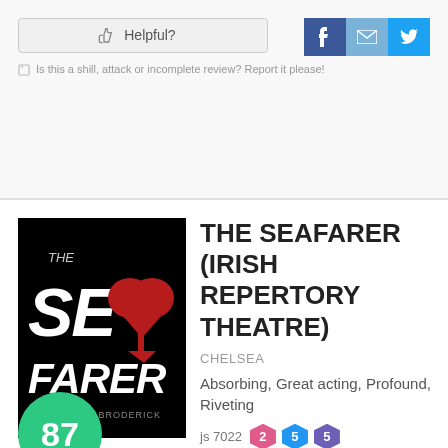Helpful?
Is this a shill, attack or incomplete review? Report it please!
THE SEAFARER (IRISH REPERTORY THEATRE)
CHELSEA
Absorbing, Great acting, Profound, Riveting
js 7022  2  5  5
+ Get Alerts
May 7th, 2018
See it if you can appreciate pathos and humor in the same situation, and want to see some great acting in an intimate theater.